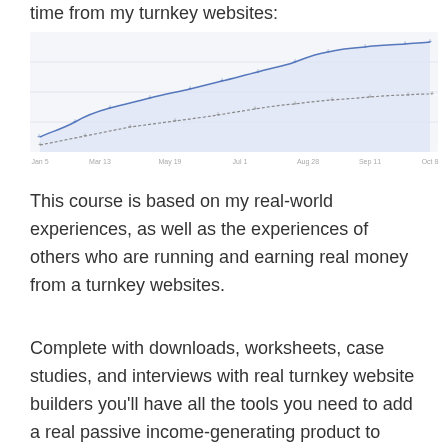time from my turnkey websites:
[Figure (area-chart): A rising area chart showing growth over time from turnkey websites, with two trend lines (one solid, one dotted) both trending upward over several months. The filled area under the upper line is light blue/lavender.]
This course is based on my real-world experiences, as well as the experiences of others who are running and earning real money from a turnkey websites.
Complete with downloads, worksheets, case studies, and interviews with real turnkey website builders you'll have all the tools you need to add a real passive income-generating product to your